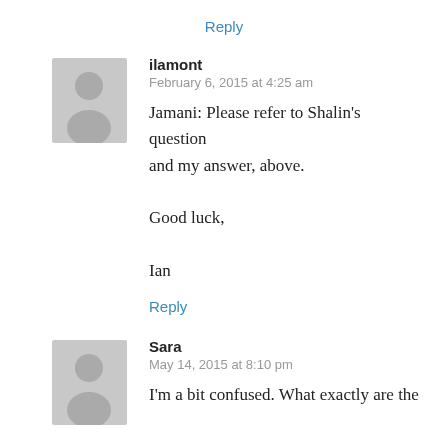Reply
ilamont
February 6, 2015 at 4:25 am
Jamani: Please refer to Shalin's question and my answer, above.

Good luck,

Ian
Reply
Sara
May 14, 2015 at 8:10 pm
I'm a bit confused. What exactly are the